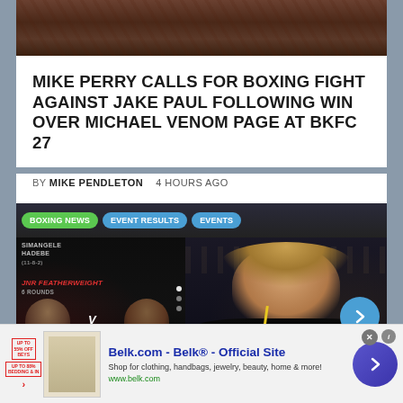[Figure (photo): Top portion of a boxing/MMA photo showing fighters in close contact, dark tones with skin and glove details visible]
MIKE PERRY CALLS FOR BOXING FIGHT AGAINST JAKE PAUL FOLLOWING WIN OVER MICHAEL VENOM PAGE AT BKFC 27
BY MIKE PENDLETON   4 HOURS AGO
[Figure (screenshot): Sports news website content section showing navigation tabs (BOXING NEWS, EVENT RESULTS, EVENTS), a fight card graphic for JNR FEATHERWEIGHT 6 ROUNDS featuring NOSIACWASE DUBE (0-3-2) vs LUFUNO MUTSHAYI (1-8-1), and a smiling blonde woman presenter identified as Jillian Peterson with a blue arrow navigation button]
Jillian Peterson
[Figure (screenshot): Advertisement banner for Belk.com - Belk Official Site showing product image, brand name, description 'Shop for clothing, handbags, jewelry, beauty, home & more!', URL www.belk.com, close button, and blue circle CTA arrow button]